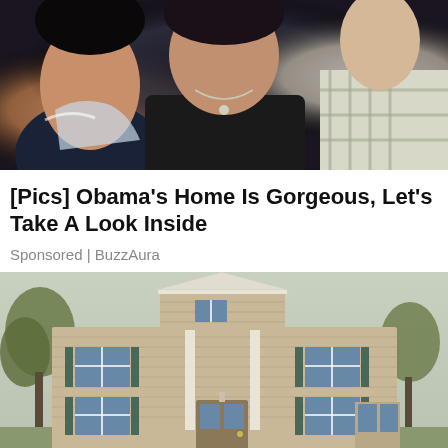[Figure (photo): Three people posing together, cropped torso/upper body shot. Person on left wearing dark patterned top, person in middle wearing black tank top with silver necklace, person on right wearing plaid shirt.]
[Pics] Obama's Home Is Gorgeous, Let's Take A Look Inside
Sponsored | BuzzAura
[Figure (photo): Exterior photo of a two-story beige/tan colonial-style house with white trim, multiple windows with dark shutters, surrounded by trees with spring foliage.]